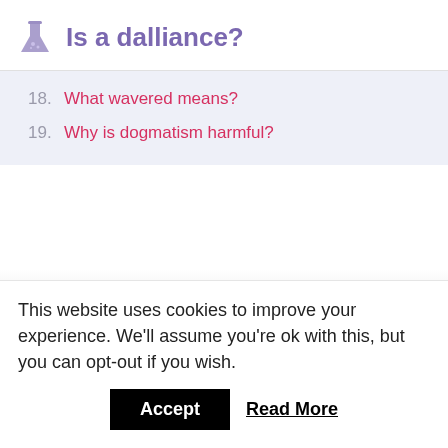Is a dalliance?
18. What wavered means?
19. Why is dogmatism harmful?
This website uses cookies to improve your experience. We'll assume you're ok with this, but you can opt-out if you wish.
Accept   Read More